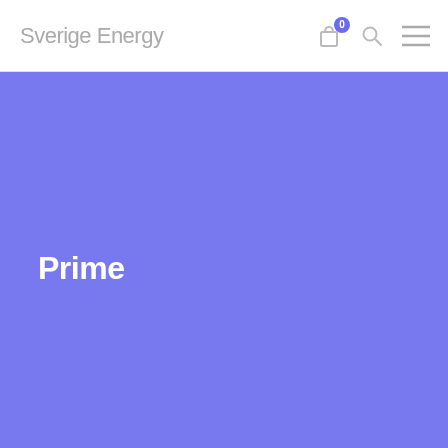Sverige Energy
[Figure (screenshot): Blue hero banner with text 'Prime' in white bold font on a medium-blue/periwinkle background]
Prime